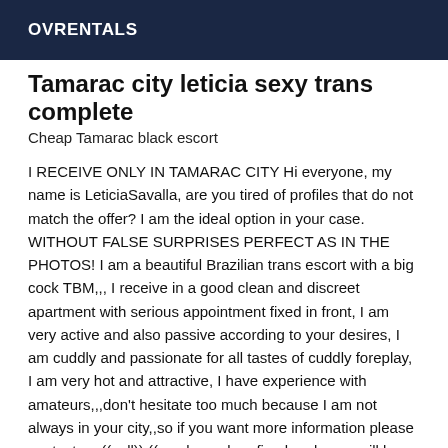OVRENTALS
Tamarac city leticia sexy trans complete
Cheap Tamarac black escort
I RECEIVE ONLY IN TAMARAC CITY Hi everyone, my name is LeticiaSavalla, are you tired of profiles that do not match the offer? I am the ideal option in your case. WITHOUT FALSE SURPRISES PERFECT AS IN THE PHOTOS! I am a beautiful Brazilian trans escort with a big cock TBM,,, I receive in a good clean and discreet apartment with serious appointment fixed in front, I am very active and also passive according to your desires, I am cuddly and passionate for all tastes of cuddly foreplay, I am very hot and attractive, I have experience with amateurs,,,don't hesitate too much because I am not always in your city,,so if you want more information please contact me((call)) ((mask number,,fixed and mms will be ignored)),,,only protected session and my prices are NOT NEGOTIABLE,,please don't insist. I say to you